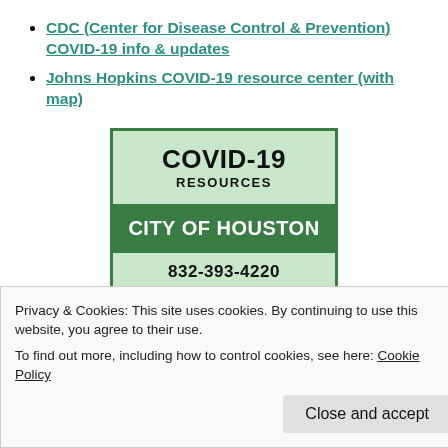CDC (Center for Disease Control & Prevention) COVID-19 info & updates
Johns Hopkins COVID-19 resource center (with map)
[Figure (infographic): COVID-19 Resources infographic showing City of Houston (phone 832-393-4220) and Harris County in a green and light green boxed layout]
Privacy & Cookies: This site uses cookies. By continuing to use this website, you agree to their use. To find out more, including how to control cookies, see here: Cookie Policy
Close and accept